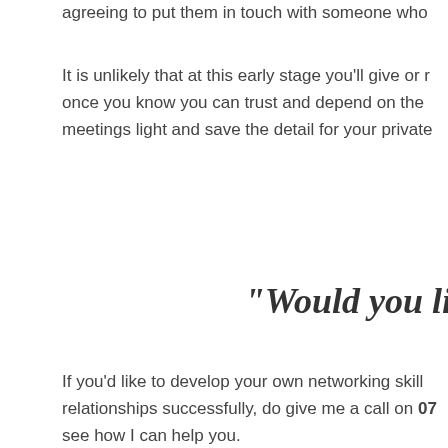agreeing to put them in touch with someone who
It is unlikely that at this early stage you'll give or r once you know you can trust and depend on the meetings light and save the detail for your private
"Would you li
If you'd like to develop your own networking skill relationships successfully, do give me a call on 07 see how I can help you.
Until next time …